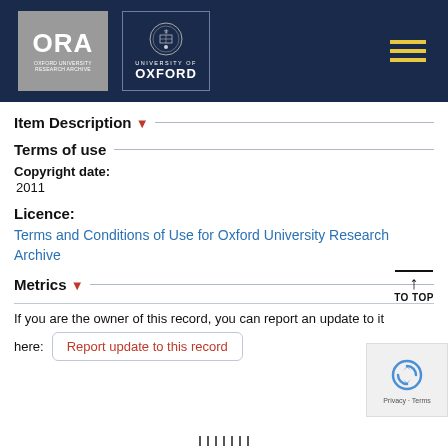[Figure (logo): ORA Oxford University Research Archive logo and University of Oxford crest logo in dark navy header with hamburger menu]
Item Description ▾
Terms of use
Copyright date:
2011
Licence:
Terms and Conditions of Use for Oxford University Research Archive
Metrics ▾
If you are the owner of this record, you can report an update to it here:
Report update to this record